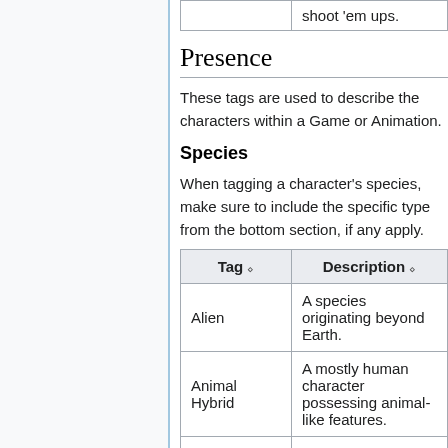| Tag | Description |
| --- | --- |
|  | shoot 'em ups. |
| Alien | A species originating beyond Earth. |
| Animal Hybrid | A mostly human character possessing animal-like features. |
| Anthro | A mostly animal character possessing |
Presence
These tags are used to describe the characters within a Game or Animation.
Species
When tagging a character's species, make sure to include the specific type from the bottom section, if any apply.
| Tag | Description |
| --- | --- |
| Alien | A species originating beyond Earth. |
| Animal Hybrid | A mostly human character possessing animal-like features. |
| Anthro | A mostly animal character possessing |